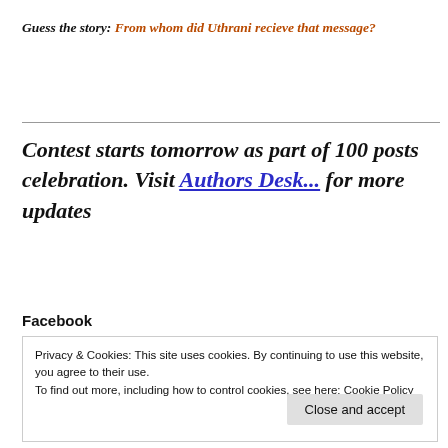Guess the story: From whom did Uthrani recieve that message?
Contest starts tomorrow as part of 100 posts celebration. Visit Authors Desk... for more updates
Facebook
Privacy & Cookies: This site uses cookies. By continuing to use this website, you agree to their use.
To find out more, including how to control cookies, see here: Cookie Policy
Close and accept